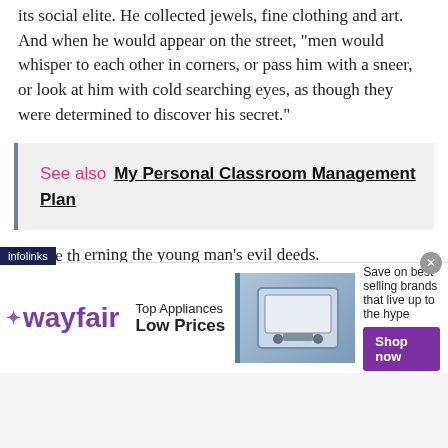its social elite. He collected jewels, fine clothing and art. And when he would appear on the street, "men would whisper to each other in corners, or pass him with a sneer, or look at him with cold searching eyes, as though they were determined to discover his secret."
See also  My Personal Classroom Management Plan
At age thirty-eight Dorian was again visited by his old friend Basil Hallward. It was on the eve of Hallward's departure for an extended stay in Paris. He came in hopes of persuading Dorian to finally change his ways, hardly believing the rumors cerning the young man's evil deeds.
[Figure (other): Wayfair advertisement banner: Top Appliances Low Prices with Shop now button and appliance image, infolinks tag visible]